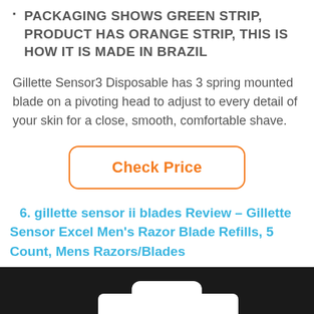PACKAGING SHOWS GREEN STRIP, PRODUCT HAS ORANGE STRIP, THIS IS HOW IT IS MADE IN BRAZIL
Gillette Sensor3 Disposable has 3 spring mounted blade on a pivoting head to adjust to every detail of your skin for a close, smooth, comfortable shave.
[Figure (other): Check Price button with orange border and orange bold text on white background]
6. gillette sensor ii blades Review – Gillette Sensor Excel Men's Razor Blade Refills, 5 Count, Mens Razors/Blades
[Figure (photo): Product image on dark/black background showing Gillette razor blade refill product silhouette in white]